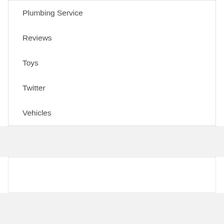Plumbing Service
Reviews
Toys
Twitter
Vehicles
Powered by | Stylemenz